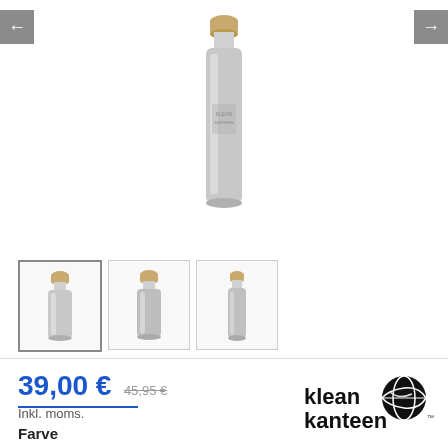[Figure (photo): Main product photo: Klean Kanteen stainless steel insulated water bottle with bamboo cap, brushed steel finish, centered on white background]
[Figure (photo): Thumbnail 1 (selected): Klean Kanteen stainless steel bottle front view with bamboo cap]
[Figure (photo): Thumbnail 2: Klean Kanteen stainless steel bottle slight angle view]
[Figure (photo): Thumbnail 3: Klean Kanteen stainless steel bottle side view]
39,00 € 45,95 €
Inkl. moms.
[Figure (logo): Klean Kanteen logo: stylized globe icon with 'klean kanteen' text]
Farve